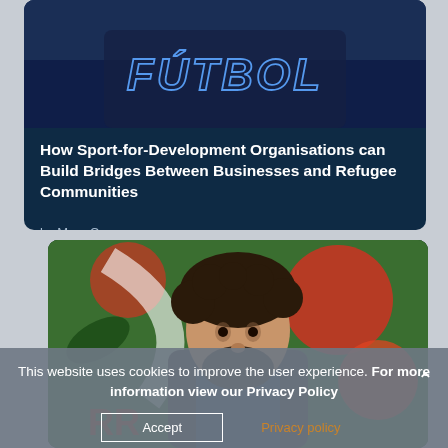[Figure (photo): Dark blue card with a photo of a person wearing a navy blue hoodie with 'FÚTBOL' text, article card on dark navy background]
How Sport-for-Development Organisations can Build Bridges Between Businesses and Refugee Communities
by Mary Connor
[Figure (photo): Second article card showing a bearded man with dark curly hair in front of a colorful mural with red/green tones]
This website uses cookies to improve the user experience. For more information view our Privacy Policy
Accept
Privacy policy